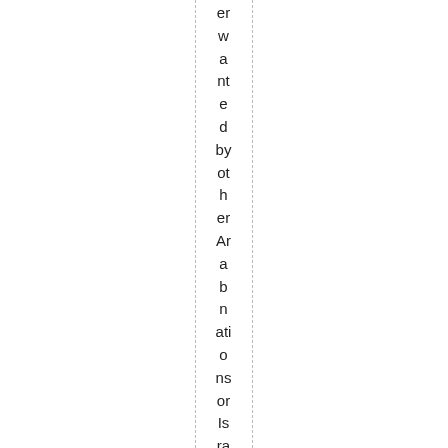er wanted by other Arab nations or Israel or USA etc etc et